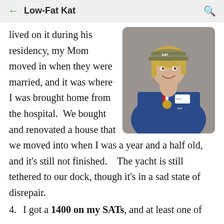Low-Fat Kat
lived on it during his residency, my Mom moved in when they were married, and it was where I was brought home from the hospital.  We bought and renovated a house that we moved into when I was a year and a half old, and it’s still not finished.    The yacht is still tethered to our dock, though it’s in a sad state of disrepair.
[Figure (photo): A young blonde woman wearing a SAT cap and blue jacket with a medal on a red, white and blue ribbon, smiling at the camera.]
4. I got a 1400 on my SATs, and at least one of